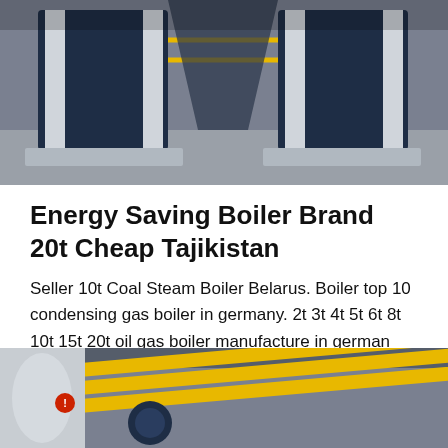[Figure (photo): Industrial boilers in a facility — two large dark blue/white boiler units side by side on a concrete floor inside a warehouse]
Energy Saving Boiler Brand 20t Cheap Tajikistan
Seller 10t Coal Steam Boiler Belarus. Boiler top 10 condensing gas boiler in germany. 2t 3t 4t 5t 6t 8t 10t 15t 20t oil gas boiler manufacture in german Brand new gas fuel condensing boiler steam boiler Read More 10t/h coa…
Get Price
[Figure (photo): Industrial boiler room with yellow pipes and boiler equipment visible]